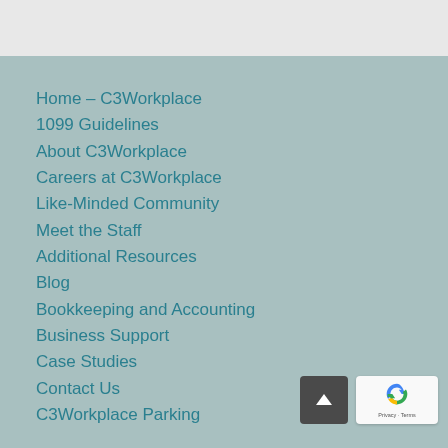Home – C3Workplace
1099 Guidelines
About C3Workplace
Careers at C3Workplace
Like-Minded Community
Meet the Staff
Additional Resources
Blog
Bookkeeping and Accounting
Business Support
Case Studies
Contact Us
C3Workplace Parking